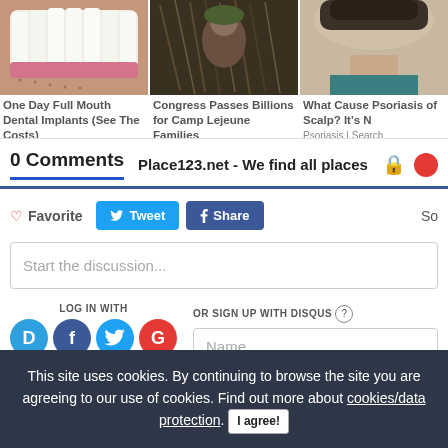[Figure (photo): Three ad thumbnails in a row: teeth/dental photo, person with animal/horse photo, person's head/scalp photo]
One Day Full Mouth Dental Implants (See The Costs)
Dental Implants | Search Ads
Congress Passes Billions for Camp Lejeune Families
UnitedClaimsBureau
What Causes Psoriasis of the Scalp? It's N
Psoriasis | Search
0 Comments   Place123.net - We find all places
❤ Favorite
Tweet
Share
Start the discussion...
LOG IN WITH
OR SIGN UP WITH DISQUS
Name
This site uses cookies. By continuing to browse the site you are agreeing to our use of cookies. Find out more about cookies/data protection. I agree!